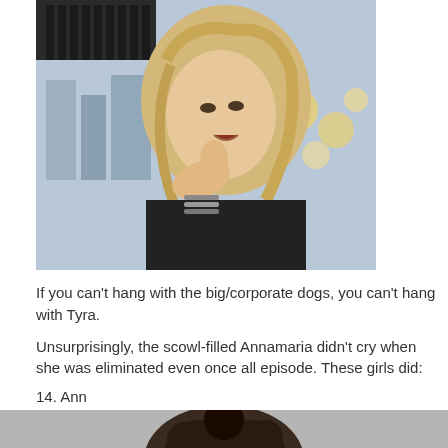[Figure (photo): A blonde woman with bracelets touching her face, outdoors with bokeh lights in background]
If you can't hang with the big/corporate dogs, you can't hang with Tyra.
Unsurprisingly, the scowl-filled Annamaria didn't cry when she was eliminated even once all episode. These girls did:
14. Ann
[Figure (photo): A person with dark curly hair, close-up, gray background]